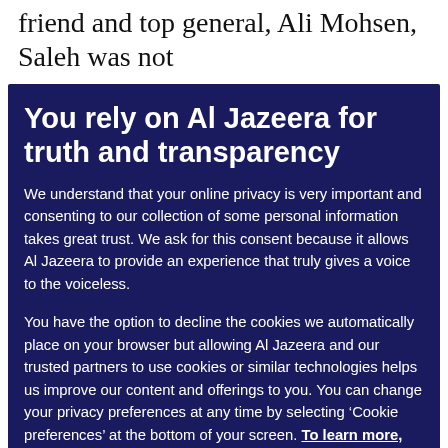friend and top general, Ali Mohsen, Saleh was not
You rely on Al Jazeera for truth and transparency
We understand that your online privacy is very important and consenting to our collection of some personal information takes great trust. We ask for this consent because it allows Al Jazeera to provide an experience that truly gives a voice to the voiceless.

You have the option to decline the cookies we automatically place on your browser but allowing Al Jazeera and our trusted partners to use cookies or similar technologies helps us improve our content and offerings to you. You can change your privacy preferences at any time by selecting ‘Cookie preferences’ at the bottom of your screen. To learn more, please view our Cookie Policy.